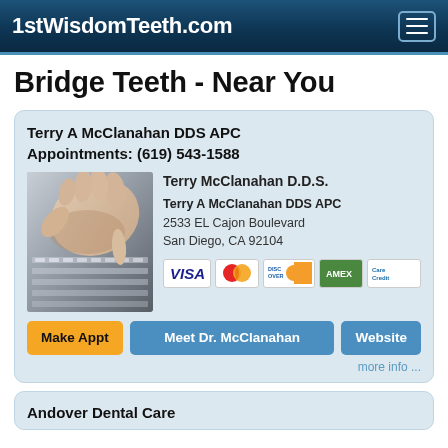1stWisdomTeeth.com
Bridge Teeth - Near You
Terry A McClanahan DDS APC
Appointments: (619) 543-1588
[Figure (photo): Photo of hand using telephone keypad]
Terry McClanahan D.D.S.
Terry A McClanahan DDS APC
2533 EL Cajon Boulevard
San Diego, CA 92104
[Figure (other): Payment method icons: VISA, MasterCard, Discover, American Express, CareCredit]
Make Appt   Meet Dr. McClanahan   Website
more info ...
Andover Dental Care